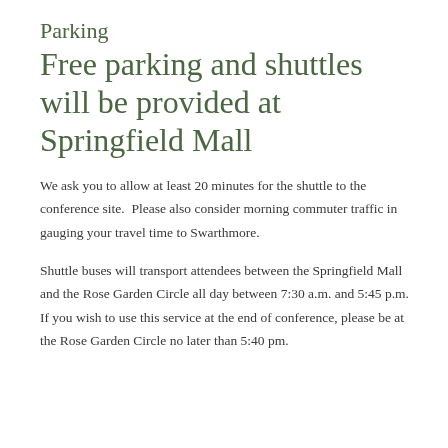Parking
Free parking and shuttles will be provided at Springfield Mall
We ask you to allow at least 20 minutes for the shuttle to the conference site.  Please also consider morning commuter traffic in gauging your travel time to Swarthmore.
Shuttle buses will transport attendees between the Springfield Mall and the Rose Garden Circle all day between 7:30 a.m. and 5:45 p.m. If you wish to use this service at the end of conference, please be at the Rose Garden Circle no later than 5:40 pm.